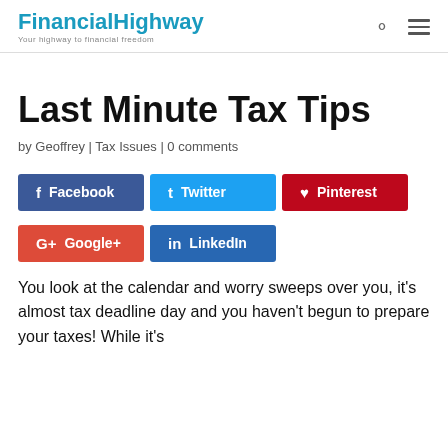FinancialHighway — Your highway to financial freedom
Last Minute Tax Tips
by Geoffrey | Tax Issues | 0 comments
[Figure (infographic): Social share buttons: Facebook, Twitter, Pinterest, Google+, LinkedIn]
You look at the calendar and worry sweeps over you, it's almost tax deadline day and you haven't begun to prepare your taxes! While it's